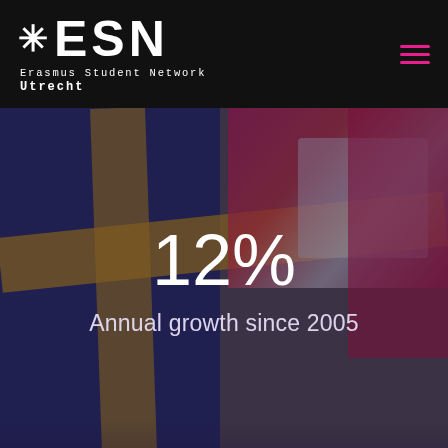ESN Erasmus Student Network Utrecht
[Figure (photo): Hero image showing colorful international flags with people in traditional costumes, overlaid with white text showing 12% annual growth since 2005 statistic]
12%
Annual growth since 2005